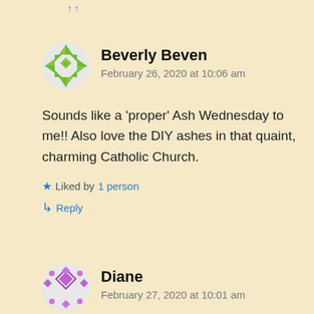[Figure (illustration): Green geometric snowflake/quilt pattern avatar for Beverly Beven]
Beverly Beven
February 26, 2020 at 10:06 am
Sounds like a ‘proper’ Ash Wednesday to me!! Also love the DIY ashes in that quaint, charming Catholic Church.
★ Liked by 1 person
↳ Reply
[Figure (illustration): Purple geometric diamond pattern avatar for Diane]
Diane
February 27, 2020 at 10:01 am